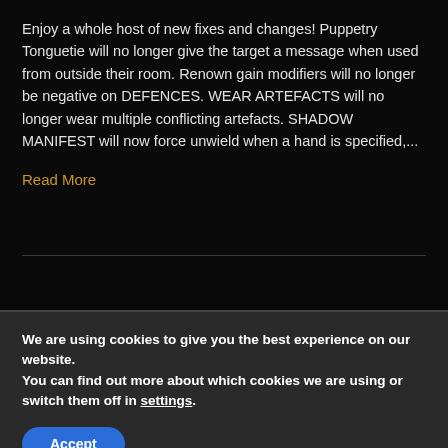Enjoy a whole host of new fixes and changes! Puppetry Tonguetie will no longer give the target a message when used from outside their room. Renown gain modifiers will no longer be negative on DEFENCES. WEAR ARTEFACTS will no longer wear multiple conflicting artefacts. SHADOW MANIFEST will now force unwield when a hand is specified,...
Read More
Older Posts »
We are using cookies to give you the best experience on our website.
You can find out more about which cookies we are using or switch them off in settings.
Accept